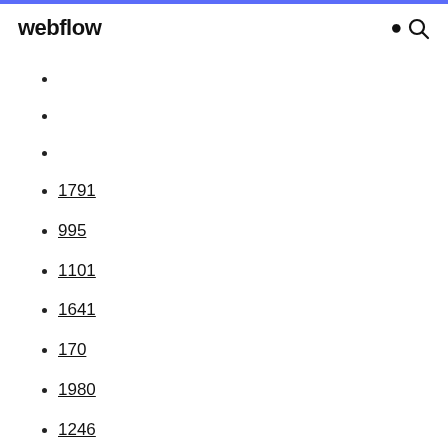webflow
1791
995
1101
1641
170
1980
1246
1301
651